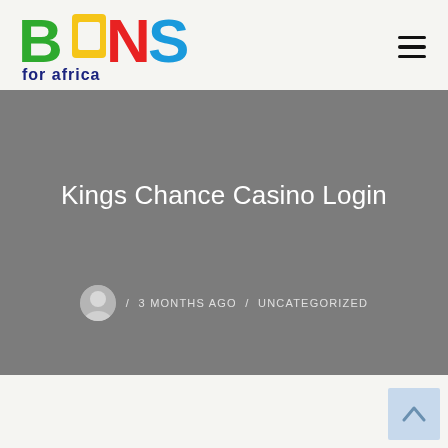[Figure (logo): BONS for africa logo with colored letters B (green), O (yellow shape), N (red), S (blue) and 'for africa' in dark blue below]
Kings Chance Casino Login
/ 3 MONTHS AGO / UNCATEGORIZED